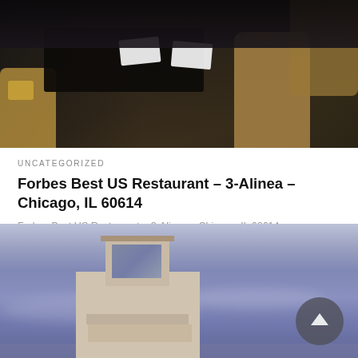[Figure (photo): Interior photo of a restaurant dining area with dark wooden tables and tan/brown upholstered chairs, with yellow cushion visible on left]
UNCATEGORIZED
Forbes Best US Restaurant – 3-Alinea – Chicago, IL 60614
Forbes Best US Restaurant – 3-Alinea – Chicago, IL 60614
1723 N Halsted St
(between Willow..
21 9 월, 2013
[Figure (photo): Exterior photo of a modern building with purple-blue sky background and scroll-to-top button overlay in lower right]